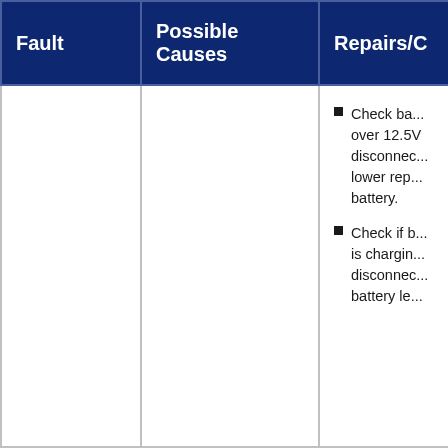| Fault | Possible Causes | Repairs/C... |
| --- | --- | --- |
|  |  | Check ba... over 12.5V... disconnec... lower rep... battery. Check if b... is chargin... disconnec... battery le... |